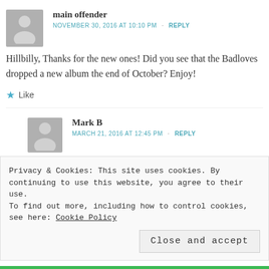main offender
NOVEMBER 30, 2016 AT 10:10 PM · REPLY
Hillbilly, Thanks for the new ones! Did you see that the Badloves dropped a new album the end of October? Enjoy!
★ Like
Mark B
MARCH 21, 2016 AT 12:45 PM · REPLY
Privacy & Cookies: This site uses cookies. By continuing to use this website, you agree to their use. To find out more, including how to control cookies, see here: Cookie Policy
Close and accept